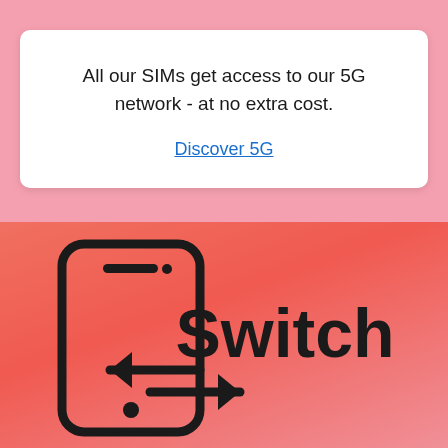All our SIMs get access to our 5G network - at no extra cost.
Discover 5G
[Figure (illustration): A coral/salmon gradient background with a smartphone icon on the left showing two horizontal arrows (left and right) indicating switching, and the word 'Switch' in bold dark text on the right.]